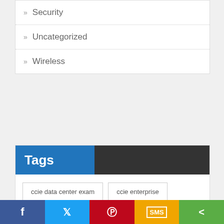» Security
» Uncategorized
» Wireless
Tags
ccie data center exam
ccie enterprise
ccie enterprise infrastructure
ccie enterprise wireless